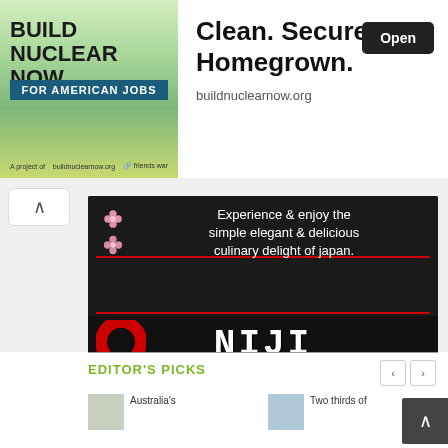[Figure (screenshot): Advertisement banner: 'BUILD NUCLEAR NOW FOR AMERICAN JOBS' on left with green/yellow background, right side says 'Clean. Secure. Homegrown.' with Open button and buildnuclearnow.org URL]
[Figure (photo): Niji Sushi Bar Kingsford advertisement showing dark restaurant interior with text 'Experience & enjoy the simple elegant & delicious culinary delight of japan.' and logo, www.nijisushi.com.au, with sushi and pink drinks photos at bottom]
EDITOR'S PICKS
[Figure (photo): Thumbnail image partially visible, labeled Australia's]
[Figure (photo): Thumbnail image partially visible, labeled Two thirds of]